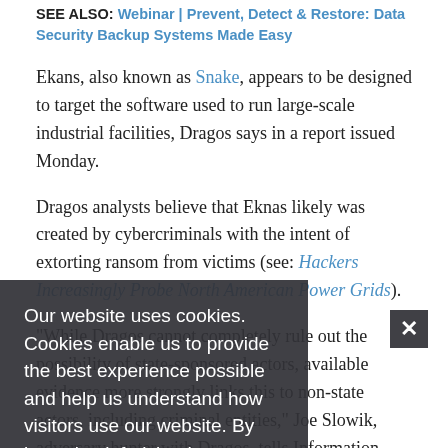SEE ALSO: Webinar | Prevent, Detect & Restore: Data Security Backup Systems Made Easy
Ekans, also known as Snake, appears to be designed to target the software used to run large-scale industrial facilities, Dragos says in a report issued Monday.
Dragos analysts believe that Eknas likely was created by cybercriminals with the intent of extorting ransom from victims (see: Hackers Increasingly Probe North American Power Grids).
"While Dragos cannot completely rule out the possibility of state-sponsored actors, available evidence more strongly links this to non-state actors, including criminal entities," Joe Slowik, adversary hunter with Dragos, tells Information Security Media Group. "As a result, this could be sold in criminal or related markets for use by other entities, as observed in other ransomware families."
Our website uses cookies. Cookies enable us to provide the best experience possible and help us understand how visitors use our website. By browsing inforisktoday.com, you agree to our use of cookies.